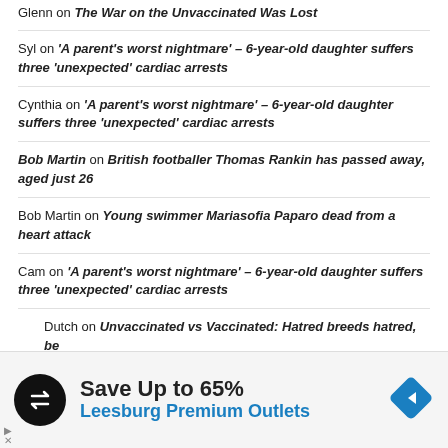Glenn on The War on the Unvaccinated Was Lost
Syl on 'A parent's worst nightmare' – 6-year-old daughter suffers three 'unexpected' cardiac arrests
Cynthia on 'A parent's worst nightmare' – 6-year-old daughter suffers three 'unexpected' cardiac arrests
Bob Martin on British footballer Thomas Rankin has passed away, aged just 26
Bob Martin on Young swimmer Mariasofia Paparo dead from a heart attack
Cam on 'A parent's worst nightmare' – 6-year-old daughter suffers three 'unexpected' cardiac arrests
Dutch on Unvaccinated vs Vaccinated: Hatred breeds hatred, be [t]he to stop the vicious cycle
[Figure (screenshot): Advertisement banner: Save Up to 65% Leesburg Premium Outlets with logo icons]